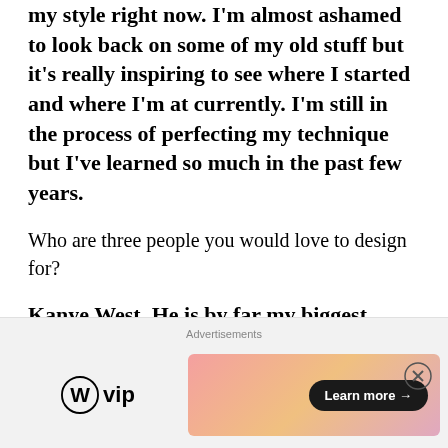my style right now. I'm almost ashamed to look back on some of my old stuff but it's really inspiring to see where I started and where I'm at currently. I'm still in the process of perfecting my technique but I've learned so much in the past few years.
Who are three people you would love to design for?
Kanye West. He is by far my biggest inspiration and to be able to work with him would be life changing. I'd love to design for Chance and Fat
[Figure (other): Advertisement banner at the bottom of the page. Shows 'Advertisements' label, WordPress VIP logo on the left, and a colorful gradient banner on the right with a 'Learn more →' button.]